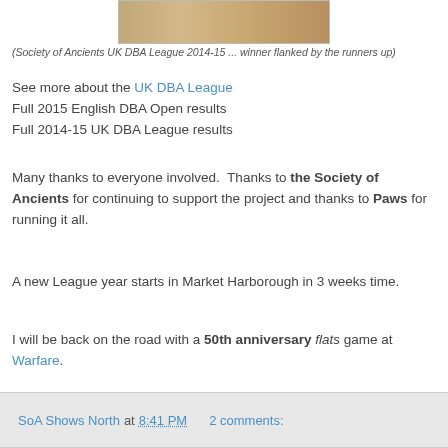[Figure (photo): Cropped photo showing people at UK DBA League 2014-15 event, winner flanked by runners up]
(Society of Ancients UK DBA League 2014-15 ... winner flanked by the runners up)
See more about the UK DBA League
Full 2015 English DBA Open results
Full 2014-15 UK DBA League results
Many thanks to everyone involved.  Thanks to the Society of Ancients for continuing to support the project and thanks to Paws for running it all.
A new League year starts in Market Harborough in 3 weeks time.
I will be back on the road with a 50th anniversary flats game at Warfare.
SoA Shows North at 8:41 PM   2 comments: